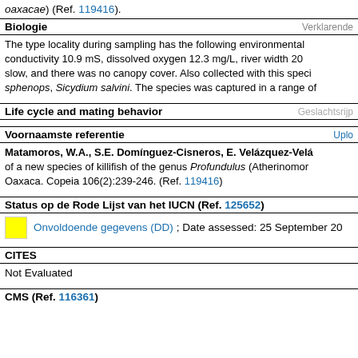oaxacae) (Ref. 119416).
Biologie | Verklarende
The type locality during sampling has the following environmental conductivity 10.9 mS, dissolved oxygen 12.3 mg/L, river width 20 slow, and there was no canopy cover. Also collected with this speci sphenops, Sicydium salvini. The species was captured in a range of
Life cycle and mating behavior | Geslachtsrijp
Voornaamste referentie | Uplo
Matamoros, W.A., S.E. Domínguez-Cisneros, E. Velázquez-Velá of a new species of killifish of the genus Profundulus (Atherinomor Oaxaca. Copeia 106(2):239-246. (Ref. 119416)
Status op de Rode Lijst van het IUCN (Ref. 125652)
Onvoldoende gegevens (DD) ; Date assessed: 25 September 20
CITES
Not Evaluated
CMS (Ref. 116361)